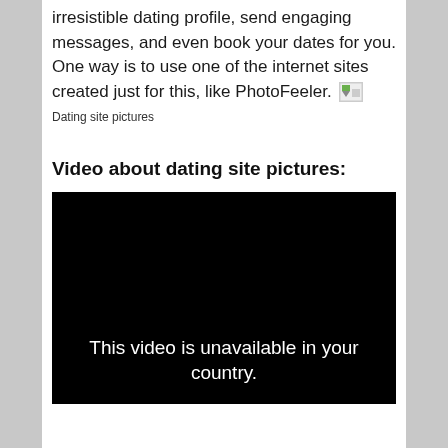irresistible dating profile, send engaging messages, and even book your dates for you. One way is to use one of the internet sites created just for this, like PhotoFeeler. [Dating site pictures]
Video about dating site pictures:
[Figure (screenshot): Black video player showing the message: This video is unavailable in your country.]